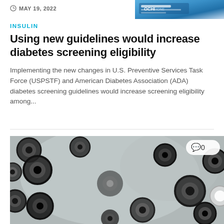[Figure (photo): Partial view of medical/pharmaceutical imagery at top right corner, showing what appears to be a medicine package or ID card in blue tones]
MAY 19, 2022
INSULIN
Using new guidelines would increase diabetes screening eligibility
Implementing the new changes in U.S. Preventive Services Task Force (USPSTF) and American Diabetes Association (ADA) diabetes screening guidelines would increase screening eligibility among...
[Figure (photo): Black and white electron microscope image showing multiple circular virus or cell particles with dark centers and ring-like outer structures, against a light grey background. A comment badge showing '0' is visible in the top right of the image.]